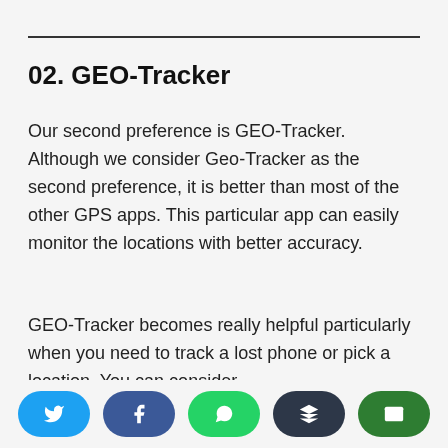02. GEO-Tracker
Our second preference is GEO-Tracker. Although we consider Geo-Tracker as the second preference, it is better than most of the other GPS apps. This particular app can easily monitor the locations with better accuracy.
GEO-Tracker becomes really helpful particularly when you need to track a lost phone or pick a location. You can consider
Social share buttons: Twitter, Facebook, WhatsApp, Buffer, Email